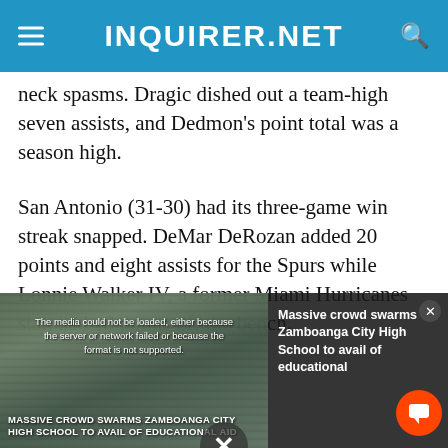INQUIRER.NET
neck spasms. Dragic dished out a team-high seven assists, and Dedmon's point total was a season high.
San Antonio (31-30) had its three-game win streak snapped. DeMar DeRozan added 20 points and eight assists for the Spurs while Lonnie Walker IV, a former Miami Hurricanes star, had 18 points off the bench.
[Figure (screenshot): Video media player overlay showing error message 'The media could not be loaded, either because the server or network failed or because the format is not supported.' with a related news thumbnail about 'Massive crowd swarms Zamboanga City High School to avail of educational aid' and a dismiss X button at the bottom.]